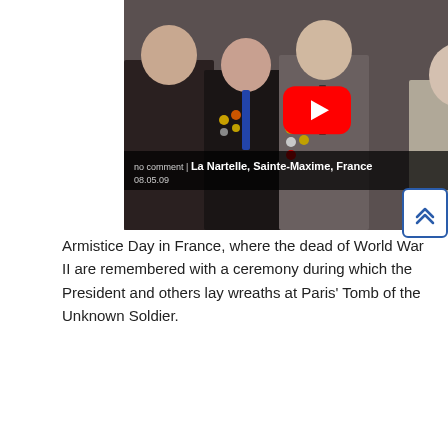[Figure (screenshot): YouTube video thumbnail showing men in military uniforms with medals at La Nartelle, Sainte-Maxime, France 08.05.09 with a red YouTube play button overlay]
Armistice Day in France, where the dead of World War II are remembered with a ceremony during which the President and others lay wreaths at Paris' Tomb of the Unknown Soldier.
[Figure (screenshot): YouTube video thumbnail from AP showing Arc de Triomphe in Paris with title 'Paris, London Mark Armistice Day' and a red YouTube play button overlay]